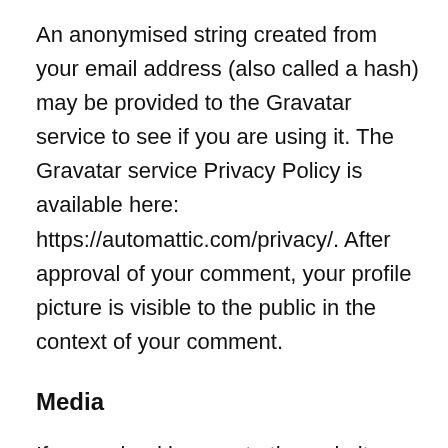An anonymised string created from your email address (also called a hash) may be provided to the Gravatar service to see if you are using it. The Gravatar service Privacy Policy is available here: https://automattic.com/privacy/. After approval of your comment, your profile picture is visible to the public in the context of your comment.
Media
If you upload images to the website, you should avoid uploading images with